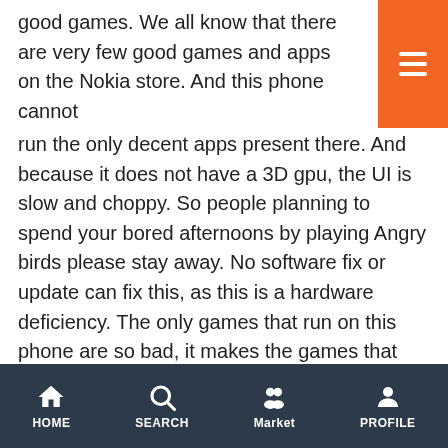good games. We all know that there are very few good games and apps on the Nokia store. And this phone cannot run the only decent apps present there. And because it does not have a 3D gpu, the UI is slow and choppy. So people planning to spend your bored afternoons by playing Angry birds please stay away. No software fix or update can fix this, as this is a hardware deficiency. The only games that run on this phone are so bad, it makes the games that run on my old NGage look as if they are from the future. Compare the UI of 500 to a C7 next to you and see how smoot
Best Phone of its category!
By Paras Balsara on Mar, 2012
Nokia 500 is best phone in this category of price range 8 to 10k. I have brought this phone 2 months back while it was
HOME SEARCH Market PROFILE